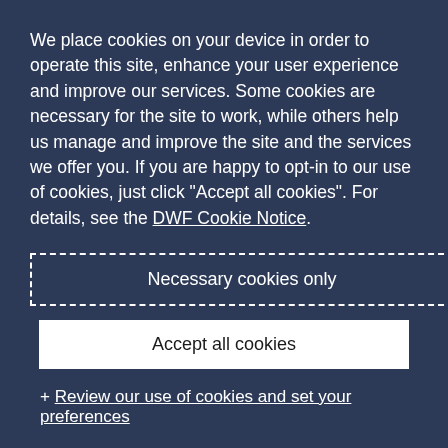We place cookies on your device in order to operate this site, enhance your user experience and improve our services. Some cookies are necessary for the site to work, while others help us manage and improve the site and the services we offer you. If you are happy to opt-in to our use of cookies, just click "Accept all cookies". For details, see the DWF Cookie Notice.
Necessary cookies only
Accept all cookies
+ Review our use of cookies and set your preferences
Safety & Regulatory
→
[Figure (photo): Circular portrait photo of a person, partially visible, dark background]
Matthew Giles
Safety & Regulatory
[Figure (photo): Circular portrait photo of Matthew Giles, man in suit, light blue background]